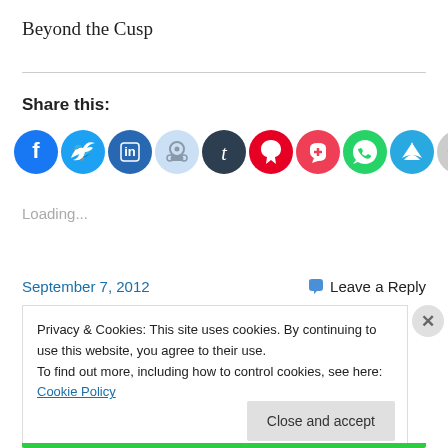Beyond the Cusp
Share this:
[Figure (infographic): Row of social media sharing icons: Facebook (blue), Twitter (light blue), LinkedIn (teal), Reddit (light blue/grey), Tumblr (dark navy), Pinterest (red), Pocket (red), WhatsApp (green), Telegram (blue), Email (grey), Print (grey)]
Loading...
September 7, 2012
Leave a Reply
Privacy & Cookies: This site uses cookies. By continuing to use this website, you agree to their use.
To find out more, including how to control cookies, see here: Cookie Policy
Close and accept